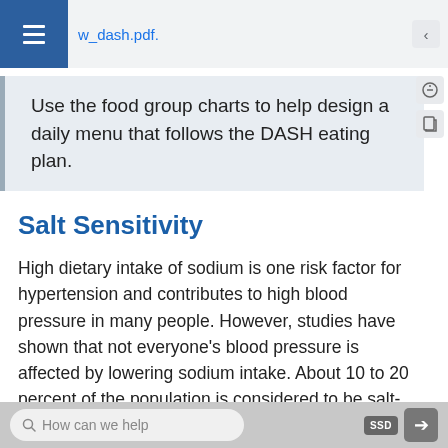w_dash.pdf.
Use the food group charts to help design a daily menu that follows the DASH eating plan.
Salt Sensitivity
High dietary intake of sodium is one risk factor for hypertension and contributes to high blood pressure in many people. However, studies have shown that not everyone's blood pressure is affected by lowering sodium intake. About 10 to 20 percent of the population is considered to be salt-sensitive, meaning their blood pressure is affected by salt intake. Genetics, race, gender, weight, and physical activity level are determinants of salt sensitivity. African
How can we help